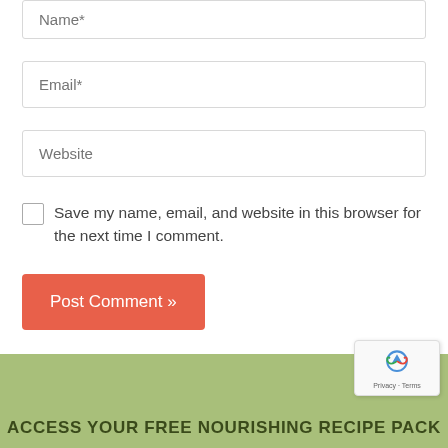[Figure (screenshot): Form input field for Name with placeholder text 'Name*']
[Figure (screenshot): Form input field for Email with placeholder text 'Email*']
[Figure (screenshot): Form input field for Website with placeholder text 'Website']
Save my name, email, and website in this browser for the next time I comment.
[Figure (screenshot): Post Comment button in coral/orange-red color with white text 'Post Comment »']
ACCESS YOUR FREE NOURISHING RECIPE PACK
[Figure (logo): reCAPTCHA badge with Privacy and Terms links]